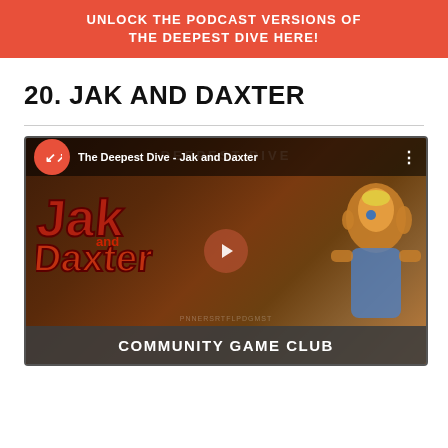UNLOCK THE PODCAST VERSIONS OF THE DEEPEST DIVE HERE!
20. JAK AND DAXTER
[Figure (screenshot): YouTube-style embedded video thumbnail showing 'The Deepest Dive - Jak and Daxter' with Jak and Daxter game logo and characters, Community Game Club branding at the bottom.]